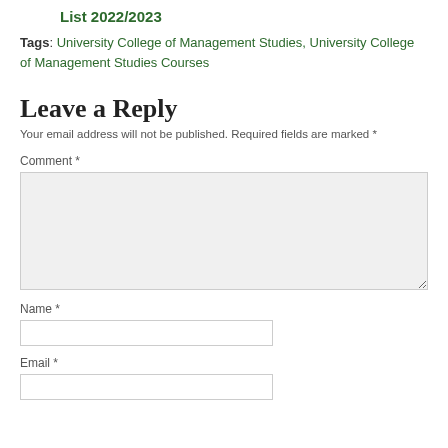List 2022/2023
Tags: University College of Management Studies, University College of Management Studies Courses
Leave a Reply
Your email address will not be published. Required fields are marked *
Comment *
Name *
Email *